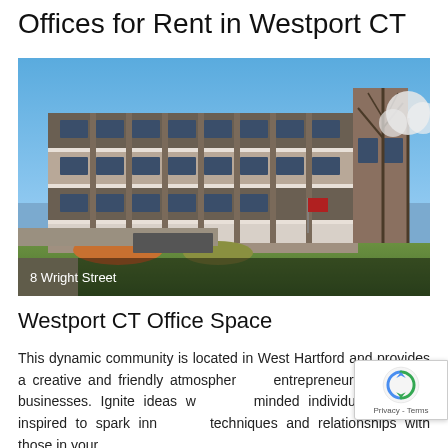Offices for Rent in Westport CT
[Figure (photo): Photo of a multi-story office building at 8 Wright Street, Westport CT, taken in spring with blue sky and blooming trees]
8 Wright Street
Westport CT Office Space
This dynamic community is located in West Hartford and provides a creative and friendly atmosphere for entrepreneurs and small businesses. Ignite ideas with like-minded individuals and be inspired to spark innovative techniques and relationships with those in your